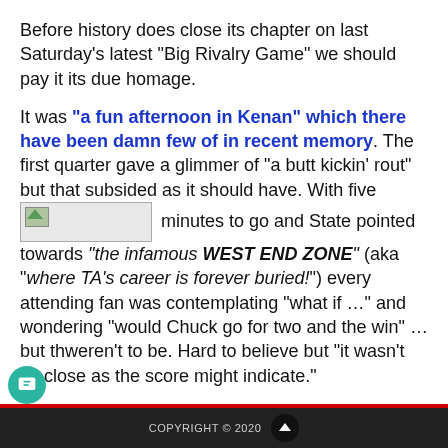Before history does close its chapter on last Saturday’s latest “Big Rivalry Game” we should pay it its due homage.
It was “a fun afternoon in Kenan” which there have been damn few of in recent memory.  The first quarter gave a glimmer of “a butt kickin’ rout” but that subsided as it should have.  With five [image] minutes to go and State pointed towards “the infamous WEST END ZONE” (aka “where TA’s career is forever buried!”) every attending fan was contemplating “what if …” and wondering “would Chuck go for two and the win” … but thweren’t to be.  Hard to believe but “it wasn’t as close as the score might indicate.”
As with most rivalry games, the real drama is all the fan yadda yadda.  That brings us to our latest “obsession for ever” … “The Biggest
COPYRIGHT © 2020